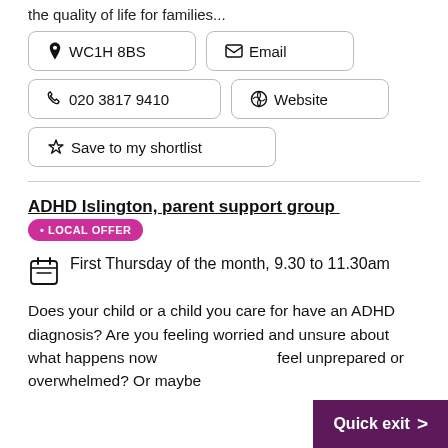the quality of life for families...
WC1H 8BS
Email
020 3817 9410
Website
Save to my shortlist
ADHD Islington, parent support group • LOCAL OFFER
First Thursday of the month, 9.30 to 11.30am
Does your child or a child you care for have an ADHD diagnosis? Are you feeling worried and unsure about what happens now feel unprepared or overwhelmed? Or maybe